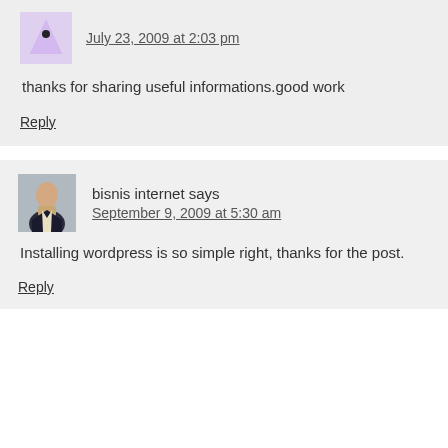July 23, 2009 at 2:03 pm
thanks for sharing useful informations.good work
Reply
bisnis internet says
September 9, 2009 at 5:30 am
Installing wordpress is so simple right, thanks for the post.
Reply